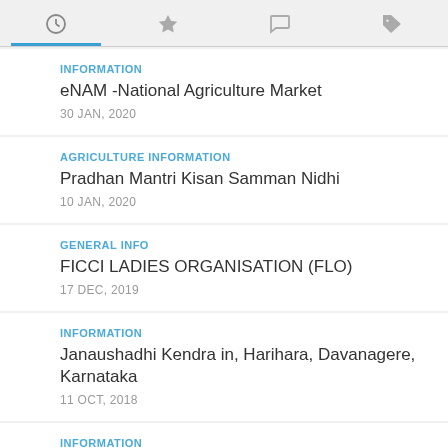Navigation tab bar with icons: clock (active), star, comment, tag
INFORMATION
eNAM -National Agriculture Market
30 JAN, 2020
AGRICULTURE INFORMATION
Pradhan Mantri Kisan Samman Nidhi
10 JAN, 2020
GENERAL INFO
FICCI LADIES ORGANISATION (FLO)
17 DEC, 2019
INFORMATION
Janaushadhi Kendra in, Harihara, Davanagere, Karnataka
11 OCT, 2018
INFORMATION